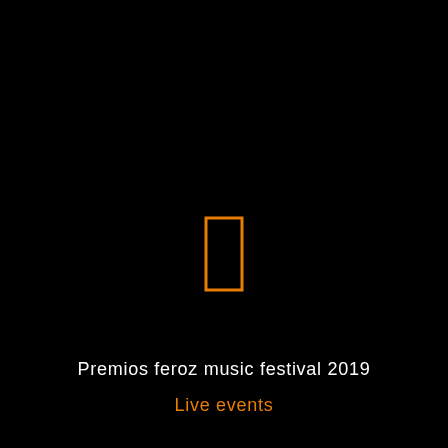[Figure (illustration): Black background with an orange outlined rectangle (portrait orientation) centered slightly above middle of the page]
Premios feroz music festival 2019
Live events